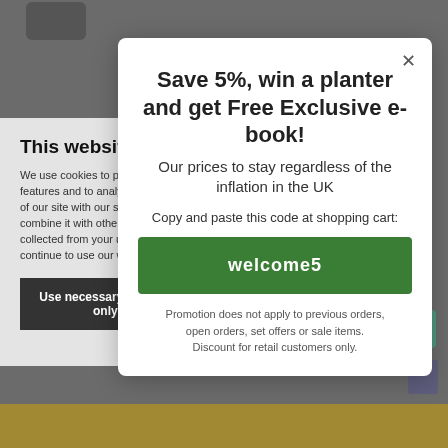[Figure (screenshot): Screenshot of a website showing two overlapping modal dialogs: a cookie consent banner in the background and a promotional popup in the foreground. The cookie banner reads 'This website uses cookies' with accept/reject buttons. The promo modal offers 'Save 5%, win a planter and get Free Exclusive e-book!' with a discount code 'welcome5' and copy-and-paste instructions.]
This website uses cookies
We use cookies to personalise content and ads, to provide social media features and to analyse our traffic. We also share information about your use of our site with our social media, advertising and analytics partners who may combine it with other information that you've provided to them or that they've collected from your use of their services. You consent to our cookies if you continue to use our website.
Save 5%, win a planter and get Free Exclusive e-book!
Our prices to stay regardless of the inflation in the UK
Copy and paste this code at shopping cart:
welcome5
Promotion does not apply to previous orders, open orders, set offers or sale items. Discount for retail customers only.